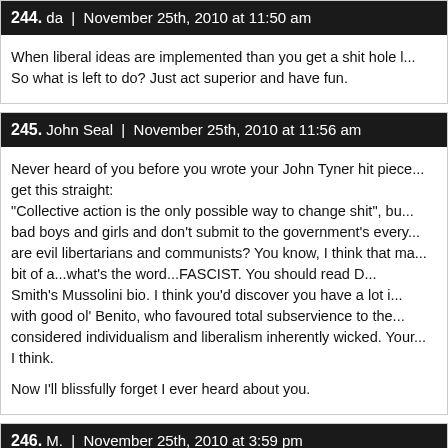244. da | November 25th, 2010 at 11:50 am
When liberal ideas are implemented than you get a shit hole l... So what is left to do? Just act superior and have fun.
245. John Seal | November 25th, 2010 at 11:56 am
Never heard of you before you wrote your John Tyner hit piece... get this straight:
"Collective action is the only possible way to change shit", bu... bad boys and girls and don't submit to the government's every... are evil libertarians and communists? You know, I think that ma... bit of a...what's the word...FASCIST. You should read D... Smith's Mussolini bio. I think you'd discover you have a lot i... with good ol' Benito, who favoured total subservience to the... considered individualism and liberalism inherently wicked. Your... I think.

Now I'll blissfully forget I ever heard about you.
246. M. | November 25th, 2010 at 3:59 pm